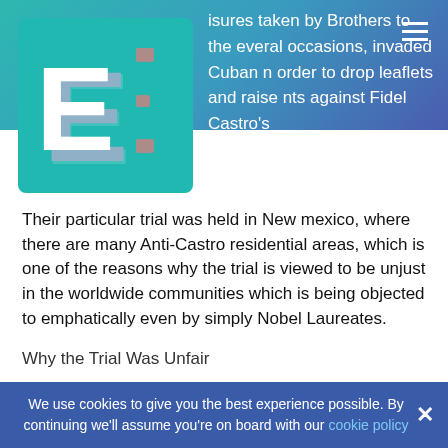[Figure (logo): 3D letter E logo on teal square background]
isures taken by Brothers to the everal occasions, invaded Cuban n order to drop leaflets and raise nts against Fidel Castro's
Their particular trial was held in New mexico, where there are many Anti-Castro residential areas, which is one of the reasons why the trial is viewed to be unjust in the worldwide communities which is being objected to emphatically even by simply Nobel Laureates.
Why the Trial Was Unfair
The Cuban Five are seen to hold the cause of the
We use cookies to give you the best experience possible. By continuing we'll assume you're on board with our cookie policy